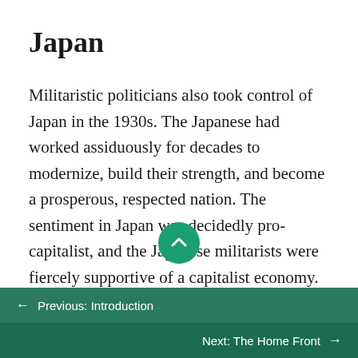Japan
Militaristic politicians also took control of Japan in the 1930s. The Japanese had worked assiduously for decades to modernize, build their strength, and become a prosperous, respected nation. The sentiment in Japan was decidedly pro-capitalist, and the Japanese militarists were fiercely supportive of a capitalist economy. They viewed with great concern the rise of Communism in the Soviet Union and in particular China, where the issue
← Previous: Introduction
Next: The Home Front →